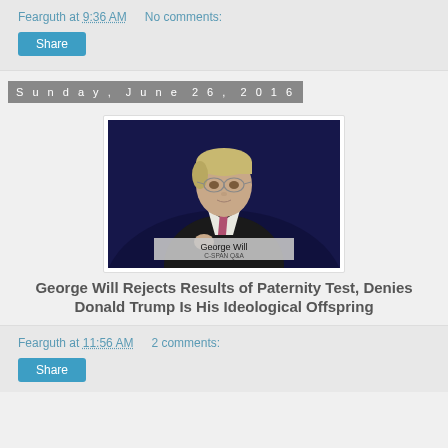Fearguth at 9:36 AM   No comments:
Share
Sunday, June 26, 2016
[Figure (photo): Photo of George Will speaking, labeled 'George Will / C-SPAN Q&A']
George Will Rejects Results of Paternity Test, Denies Donald Trump Is His Ideological Offspring
Fearguth at 11:56 AM   2 comments:
Share